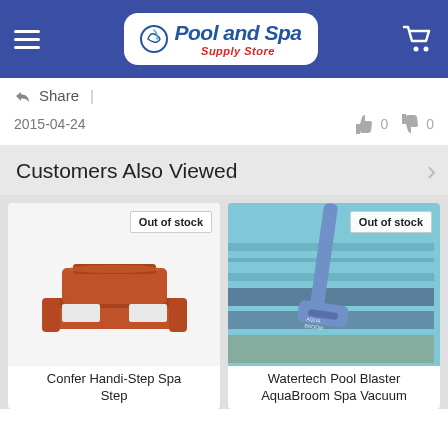Pool and Spa Supply Store
Share |
2015-04-24   👍 0  👎 0
Customers Also Viewed
[Figure (photo): Confer Handi-Step Spa Step - terracotta/brown colored two-step spa step stool, marked Out of stock]
Confer Handi-Step Spa Step
[Figure (photo): Watertech Pool Blaster AquaBroom Spa Vacuum - blue handheld vacuum tool shown in a pool, marked Out of stock]
Watertech Pool Blaster AquaBroom Spa Vacuum